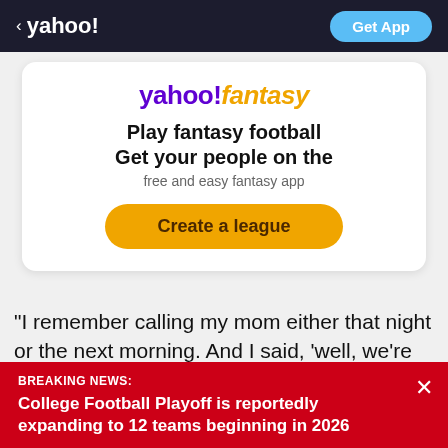< yahoo! | Get App
[Figure (advertisement): Yahoo Fantasy advertisement card with logo, 'Play fantasy football Get your people on the free and easy fantasy app', and a 'Create a league' button]
"I remember calling my mom either that night or the next morning. And I said, 'well, we're going to put all the
BREAKING NEWS: College Football Playoff is reportedly expanding to 12 teams beginning in 2026
View comments | [Facebook] [Twitter] [Email]